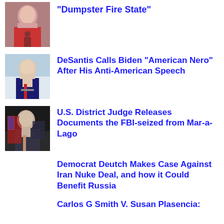[Figure (photo): Woman in red top speaking into microphone, partial crop]
"Dumpster Fire State"
[Figure (photo): Man in suit speaking at podium, DeSantis]
DeSantis Calls Biden "American Nero" After His Anti-American Speech
[Figure (photo): Man in suit at podium with US flag, federal judge setting]
U.S. District Judge Releases Documents the FBI-seized from Mar-a-Lago
Democrat Deutch Makes Case Against Iran Nuke Deal, and how it Could Benefit Russia
Carlos G Smith V. Susan Plasencia: